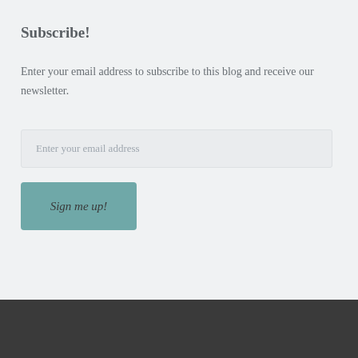Subscribe!
Enter your email address to subscribe to this blog and receive our newsletter.
Enter your email address
Sign me up!
Subscribe!